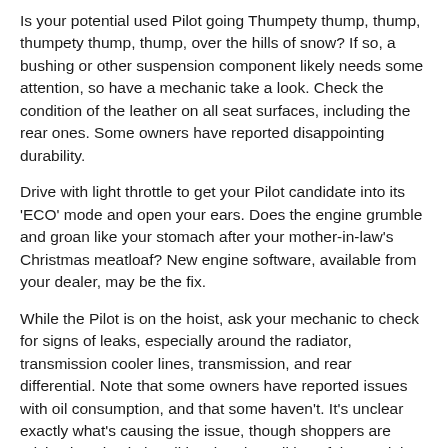Is your potential used Pilot going Thumpety thump, thump, thumpety thump, thump, over the hills of snow? If so, a bushing or other suspension component likely needs some attention, so have a mechanic take a look. Check the condition of the leather on all seat surfaces, including the rear ones. Some owners have reported disappointing durability.
Drive with light throttle to get your Pilot candidate into its 'ECO' mode and open your ears. Does the engine grumble and groan like your stomach after your mother-in-law's Christmas meatloaf? New engine software, available from your dealer, may be the fix.
While the Pilot is on the hoist, ask your mechanic to check for signs of leaks, especially around the radiator, transmission cooler lines, transmission, and rear differential. Note that some owners have reported issues with oil consumption, and that some haven't. It's unclear exactly what's causing the issue, though shoppers are advised to check the oil level and condition of the model they're considering, continue to monitor it throughout its life.
2008 to 2015 Dodge Grand Caravan / Chrysler Town and Country